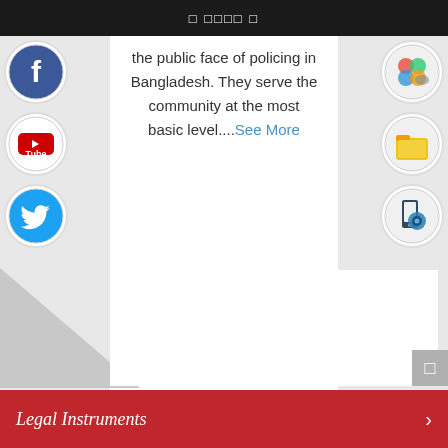□ □□□□ □
the public face of policing in Bangladesh. They serve the community at the most basic level....See More
[Figure (logo): Facebook circular social media icon]
[Figure (logo): YouTube circular social media icon]
[Figure (logo): Twitter circular social media icon]
[Figure (logo): Colorful app icon (Google Play style)]
[Figure (logo): Yellow folder/wallet app icon]
[Figure (logo): Mobile settings/gear app icon]
Legal Instruments